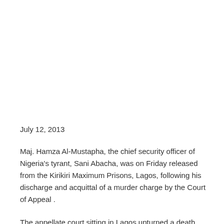July 12, 2013
Maj. Hamza Al-Mustapha, the chief security officer of Nigeria's tyrant, Sani Abacha, was on Friday released from the Kirikiri Maximum Prisons, Lagos, following his discharge and acquittal of a murder charge by the Court of Appeal .
The appellate court sitting in Lagos upturned a death